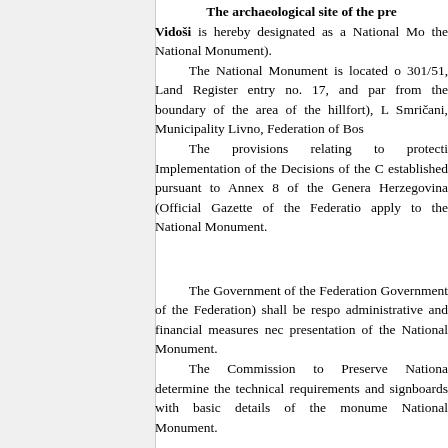The archaeological site of the pre... Vidoši is hereby designated as a National Mo... the National Monument).
The National Monument is located o... 301/51, Land Register entry no. 17, and par... from the boundary of the area of the hillfort), L... Smričani, Municipality Livno, Federation of Bos...
The provisions relating to protecti... Implementation of the Decisions of the C... established pursuant to Annex 8 of the Genera... Herzegovina (Official Gazette of the Federatio... apply to the National Monument.
The Government of the Federation... Government of the Federation) shall be respo... administrative and financial measures nec... presentation of the National Monument.
The Commission to Preserve Nationa... determine the technical requirements and... signboards with basic details of the monume... National Monument.
To ensure the on-going protection o... Clause 1 para. 2 of this Decision, the following...
all works are prohibited other than co...